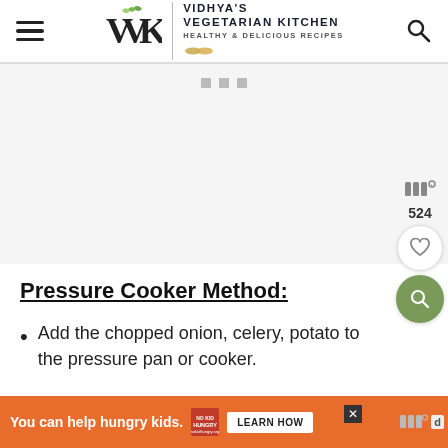Vidhya's Vegetarian Kitchen - Healthy & Delicious Recipes
[Figure (other): Advertisement placeholder area with three gray square dots at top center]
Pressure Cooker Method:
Add the chopped onion, celery, potato to the pressure pan or cooker.
You can help hungry kids. NO KID HUNGRY LEARN HOW